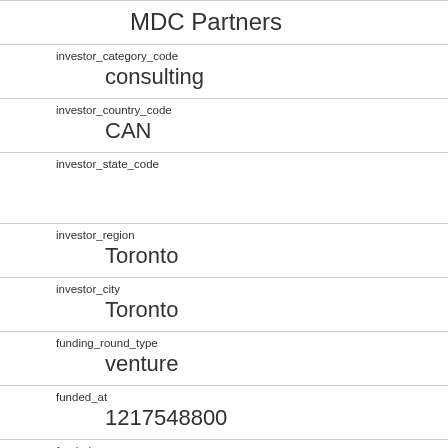| field | value |
| --- | --- |
|  | MDC Partners |
| investor_category_code | consulting |
| investor_country_code | CAN |
| investor_state_code |  |
| investor_region | Toronto |
| investor_city | Toronto |
| funding_round_type | venture |
| funded_at | 1217548800 |
| funded_year | 2008 |
| raised_amount_usd |  |
| gristHelper_Display2 |  |